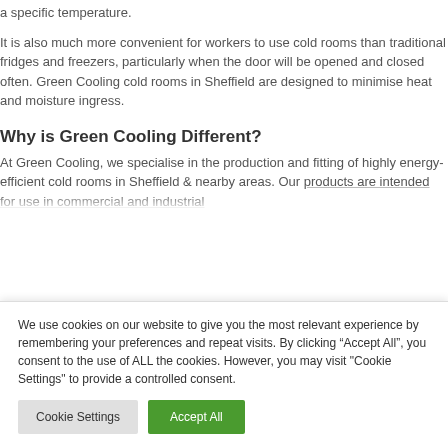a specific temperature.
It is also much more convenient for workers to use cold rooms than traditional fridges and freezers, particularly when the door will be opened and closed often. Green Cooling cold rooms in Sheffield are designed to minimise heat and moisture ingress.
Why is Green Cooling Different?
At Green Cooling, we specialise in the production and fitting of highly energy-efficient cold rooms in Sheffield & nearby areas. Our products are intended for use in commercial and industrial
We use cookies on our website to give you the most relevant experience by remembering your preferences and repeat visits. By clicking “Accept All”, you consent to the use of ALL the cookies. However, you may visit "Cookie Settings" to provide a controlled consent.